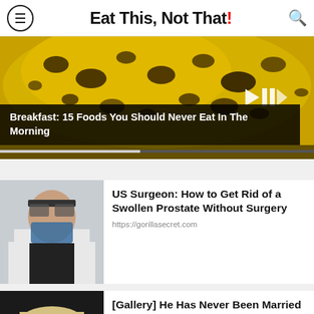Eat This, Not That!
[Figure (photo): Close-up photo of a ripe spotted banana with dark patches, with video playback controls visible]
Breakfast: 15 Foods You Should Never Eat In The Morning
[Figure (photo): Photo of a surgeon wearing magnification glasses and a mask, dressed in a white coat]
US Surgeon: How to Get Rid of a Swollen Prostate Without Surgery
https://gorillasecret.com
[Figure (photo): Photo of a man wearing a light-colored cap, looking upward, with a beard]
[Gallery] He Has Never Been Married And Now We Know Why
DailyChoices